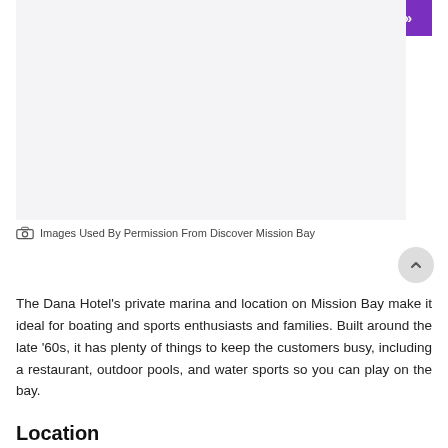Translate »
[Figure (photo): Photo placeholder area for Dana Hotel and Mission Bay images]
Images Used By Permission From Discover Mission Bay
The Dana Hotel's private marina and location on Mission Bay make it ideal for boating and sports enthusiasts and families. Built around the late '60s, it has plenty of things to keep the customers busy, including a restaurant, outdoor pools, and water sports so you can play on the bay.
Location